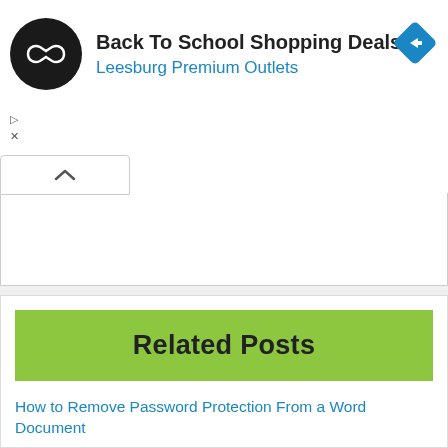[Figure (screenshot): Advertisement banner for Back To School Shopping Deals at Leesburg Premium Outlets, showing a circular black logo with double arrow, the ad title, subtitle in blue, a blue diamond navigation icon, and ad control icons (play and close).]
Related Posts
How to Remove Password Protection From a Word Document
How to Fix Samsung Watch Touch Screen Not Working